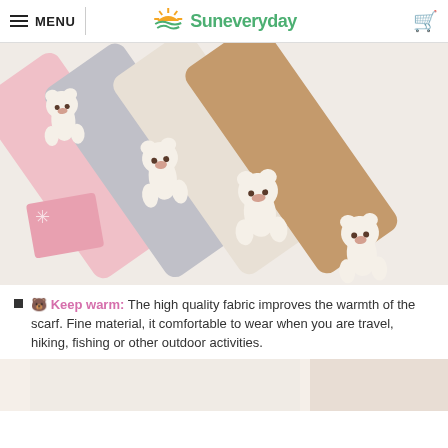MENU | Suneveryday
[Figure (photo): Four plush scarves in pink, gray, white/cream, and brown/tan colors, each with a small white teddy bear decoration on top, arranged diagonally on a white background with a pink book/notebook visible.]
🐻 Keep warm: The high quality fabric improves the warmth of the scarf. Fine material, it comfortable to wear when you are travel, hiking, fishing or other outdoor activities.
[Figure (photo): Partial view of product image at bottom of page, white/light tones.]